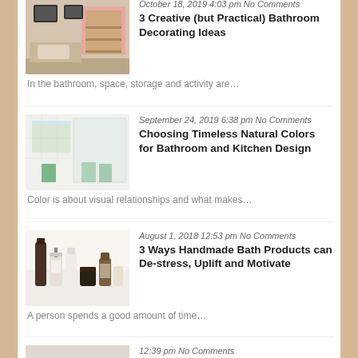[Figure (photo): Bathroom interior with pink tiles and wooden shelving]
October 18, 2019 4:03 pm No Comments
3 Creative (but Practical) Bathroom Decorating Ideas
In the bathroom, space, storage and activity are…
[Figure (photo): Bathroom with white walls, shower area with green accents]
September 24, 2019 6:38 pm No Comments
Choosing Timeless Natural Colors for Bathroom and Kitchen Design
Color is about visual relationships and what makes…
[Figure (photo): Collection of handmade bath products and bottles]
August 1, 2018 12:53 pm No Comments
3 Ways Handmade Bath Products can De-stress, Uplift and Motivate
A person spends a good amount of time…
[Figure (photo): Partially visible bathroom image at bottom]
12:39 pm No Comments